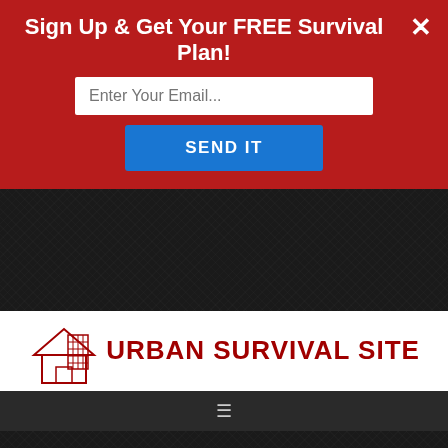Sign Up & Get Your FREE Survival Plan!
Enter Your Email...
SEND IT
[Figure (logo): Urban Survival Site logo with building icon and red text reading URBAN SURVIVAL SITE]
U.S. Department of State
Renew your Passport Now
LEARN MORE